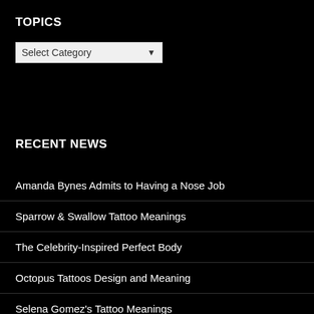TOPICS
Select Category
RECENT NEWS
Amanda Bynes Admits to Having a Nose Job
Sparrow & Swallow Tattoo Meanings
The Celebrity-Inspired Perfect Body
Octopus Tattoos Design and Meaning
Selena Gomez's Tattoo Meanings
Taylor Swift's Tattoo Meanings